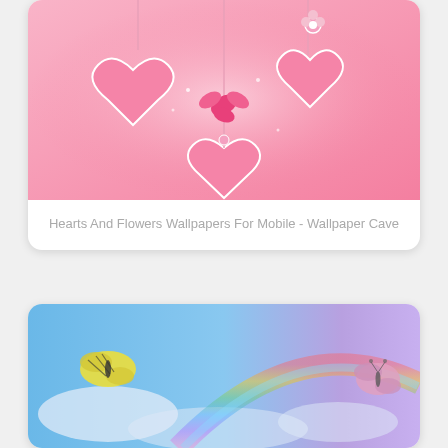[Figure (photo): Pink wallpaper image with decorative hanging hearts, pink butterfly, and flower ornaments on a pink gradient background]
Hearts And Flowers Wallpapers For Mobile - Wallpaper Cave
[Figure (photo): Blue sky wallpaper with a rainbow, white clouds, and two butterflies — a yellow swallowtail on the left and a pink butterfly on the right]